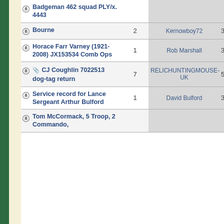| Subject | Replies | Last Post By | Views |
| --- | --- | --- | --- |
| Badgeman 462 squad PLY/x. 4443 |  |  |  |
| Bourne | 2 | Kernowboy72 | 3365 |
| Horace Farr Varney (1921-2008) JX153534 Comb Ops | 1 | Rob Marshall | 3351 |
| CJ Coughlin 7022513 dog-tag return | 7 | RELICHUNTINGMOUSE-UK | 5046 |
| Service record for Lance Sergeant Arthur Bulford | 1 | David Bulford | 3283 |
| Tom McCormack, 5 Troop, 2 Commando, |  |  |  |